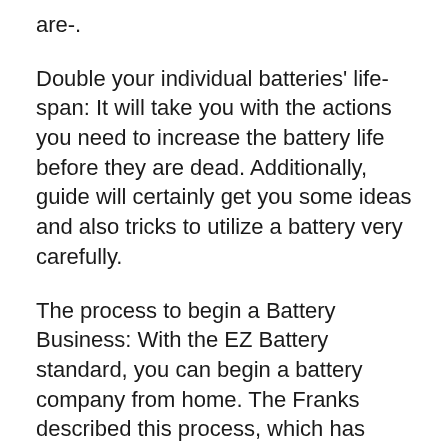are-.
Double your individual batteries' life-span: It will take you with the actions you need to increase the battery life before they are dead. Additionally, guide will certainly get you some ideas and also tricks to utilize a battery very carefully.
The process to begin a Battery Business: With the EZ Battery standard, you can begin a battery company from home. The Franks described this process, which has been doing battery company for greater than 5 years. Here he clarified the important things as well as prepared to reproduce his service.
Lifetime access on future updates: Tom and